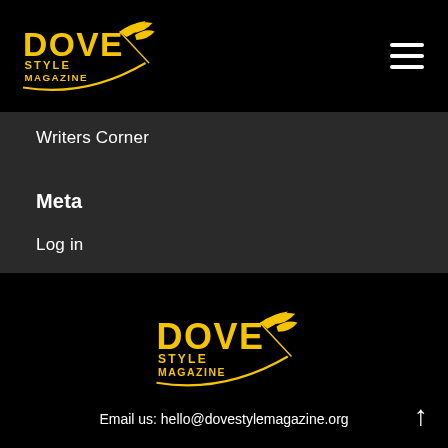Dove Style Magazine logo + hamburger menu
Writers Corner
Meta
Log in
Entries feed
Comments feed
WordPress.org
[Figure (logo): Dove Style Magazine logo in yellow on black background]
Email us: hello@dovestylemagazine.org